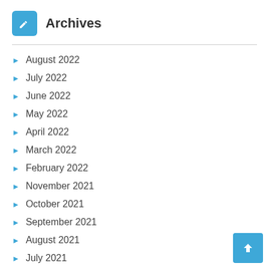Archives
August 2022
July 2022
June 2022
May 2022
April 2022
March 2022
February 2022
November 2021
October 2021
September 2021
August 2021
July 2021
June 2021
May 2021
April 2021
March 2021